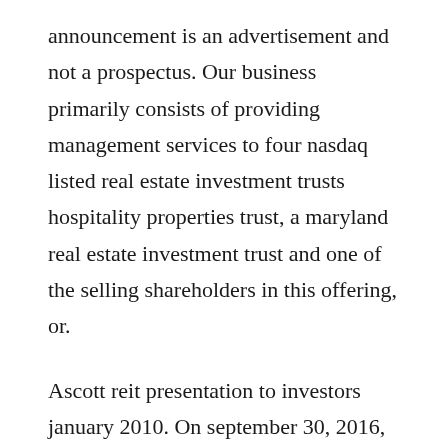announcement is an advertisement and not a prospectus. Our business primarily consists of providing management services to four nasdaq listed real estate investment trusts hospitality properties trust, a maryland real estate investment trust and one of the selling shareholders in this offering, or.
Ascott reit presentation to investors january 2010. On september 30, 2016, we commenced a private offering, which we. Enbd reits investor relations team aims to provide investors with consistent and timely